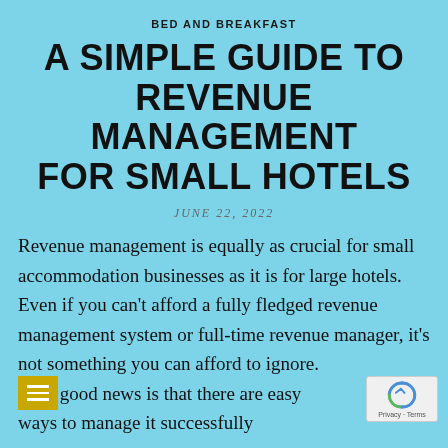BED AND BREAKFAST
A SIMPLE GUIDE TO REVENUE MANAGEMENT FOR SMALL HOTELS
JUNE 22, 2022
Revenue management is equally as crucial for small accommodation businesses as it is for large hotels. Even if you can't afford a fully fledged revenue management system or full-time revenue manager, it's not something you can afford to ignore. The good news is that there are easy ways to manage it successfully